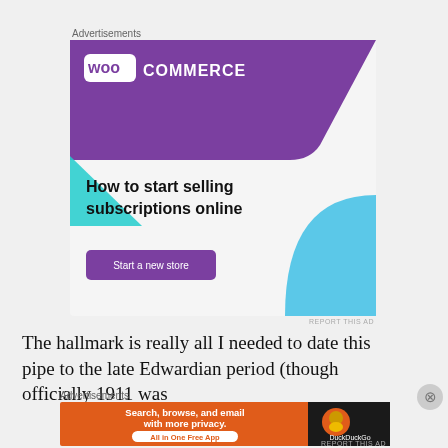Advertisements
[Figure (illustration): WooCommerce advertisement banner with purple header, WooCommerce logo, teal triangle shape, blue quarter-circle, headline 'How to start selling subscriptions online', and purple 'Start a new store' button]
REPORT THIS AD
The hallmark is really all I needed to date this pipe to the late Edwardian period (though officially 1911 was
Advertisements
[Figure (illustration): DuckDuckGo advertisement banner with orange background, text 'Search, browse, and email with more privacy. All in One Free App', and DuckDuckGo logo on dark background]
REPORT THIS AD